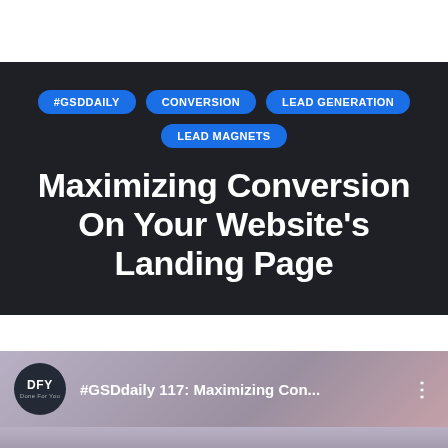[Figure (screenshot): Dark banner section with category tags (#GSDDAILY, CONVERSION, LEAD GENERATION, LEAD MAGNETS) and article title 'Maximizing Conversion On Your Website's Landing Page']
Maximizing Conversion On Your Website's Landing Page
[Figure (screenshot): YouTube video preview showing DFY logo and title '#GSDdaily 117: Maximizing Con...' with three-dot menu icon]